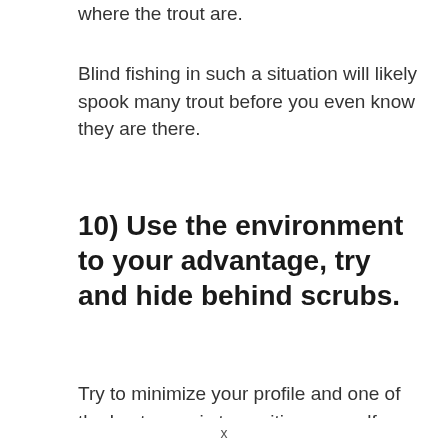where the trout are.
Blind fishing in such a situation will likely spook many trout before you even know they are there.
10) Use the environment to your advantage, try and hide behind scrubs.
Try to minimize your profile and one of the best ways is to position yourself behind structure while casting. I like to crouch behind a scrub or boulder while casting.
x